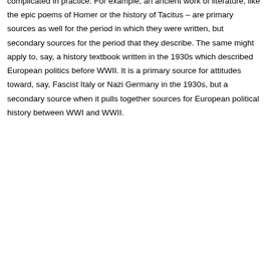complicated in practice. For example, an ancient work of literature, like the epic poems of Homer or the history of Tacitus – are primary sources as well for the period in which they were written, but secondary sources for the period that they describe. The same might apply to, say, a history textbook written in the 1930s which described European politics before WWII. It is a primary source for attitudes toward, say, Fascist Italy or Nazi Germany in the 1930s, but a secondary source when it pulls together sources for European political history between WWI and WWII.